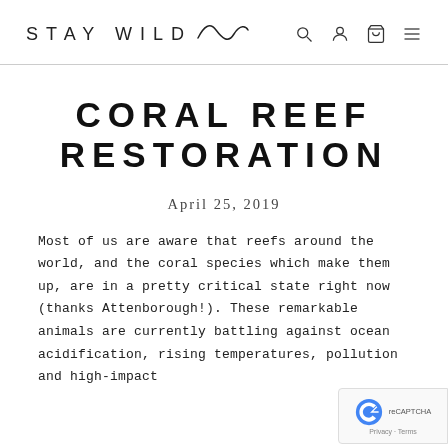STAY WILD
CORAL REEF RESTORATION
April 25, 2019
Most of us are aware that reefs around the world, and the coral species which make them up, are in a pretty critical state right now (thanks Attenborough!). These remarkable animals are currently battling against ocean acidification, rising temperatures, pollution and high-impact